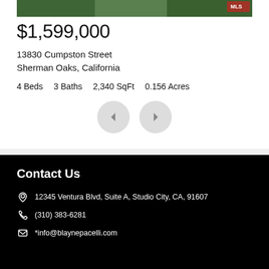[Figure (photo): Property exterior photo strip at top of listing card]
$1,599,000
13830 Cumpston Street
Sherman Oaks, California
4 Beds   3 Baths   2,340 SqFt   0.156 Acres
[Figure (other): Left and right navigation arrow buttons]
Contact Us
12345 Ventura Blvd, Suite A, Studio City, CA, 91607
(310) 383-6281
*info@blaynepacelli.com